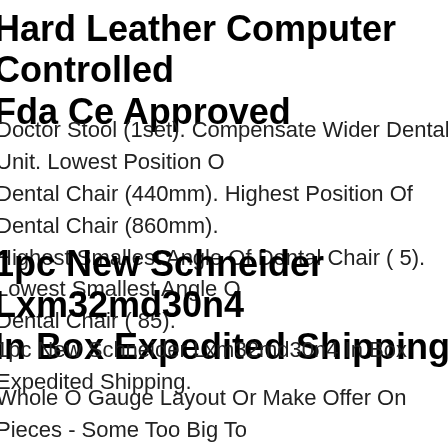Hard Leather Computer Controlled Fda Ce Approved
Doctor Stool (1set). Compensate Wider Dental Unit. Lowest Position Of Dental Chair (440mm). Highest Position Of Dental Chair (860mm). Highest Smallest Angle Of Dental Chair ( 5). Lowest Smallest Angle Of Dental Chair ( 85).
1pc New Schneider Lxm32md30n4 In Box Expedited Shipping
1pc New Schneider Lxm32md30n4 In Box Expedited Shipping.
Whole O Gauge Layout Or Make Offer On Pieces - Some Too Big To Ship? - Fast Ship. The Trains Shown In The Background Here On The Shelves Are Trains That Right Now I Am Thinking Of Keeping. Let's See If This Can Work. I Am Drastically Cutting Back My Collection Due To Health R...